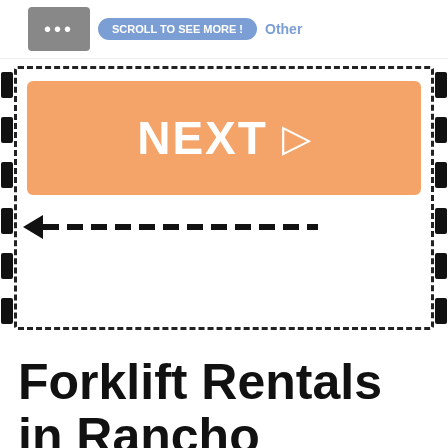[Figure (screenshot): Top UI bar with chat bubble dots icon and 'SCROLL TO SEE MORE' button and 'Other' label]
[Figure (screenshot): Orange NEXT button with right-pointing triangle arrow, inside a dashed border film-strip style frame with solid black tick marks on left and right sides, and a left-pointing arrow at the bottom]
Forklift Rentals in Rancho Cordova, CA
Forklift Rentals in California
Rental Forklifts in Rancho Cordova, CA – Are you searching for forklift rentals in Rancho Cordova, CA? Would you like to save 40%? Our free forklift rental service allows you to compare forklift rental quotes from local dealers in Rancho Cordova, CA. Simply take a moment to fill out our quote form, and we will do the rest. It is quick and easy, and forklift dealers